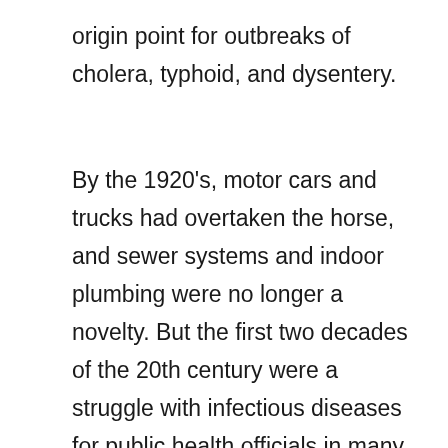origin point for outbreaks of cholera, typhoid, and dysentery.
By the 1920's, motor cars and trucks had overtaken the horse, and sewer systems and indoor plumbing were no longer a novelty. But the first two decades of the 20th century were a struggle with infectious diseases for public health officials in many American cities. Infants were especially vulnerable. Deaths in children under 5 represented 40% of all deaths in 1900. The leading causes were pneumonia, dysentery, tuberculosis, and diphtheria. The